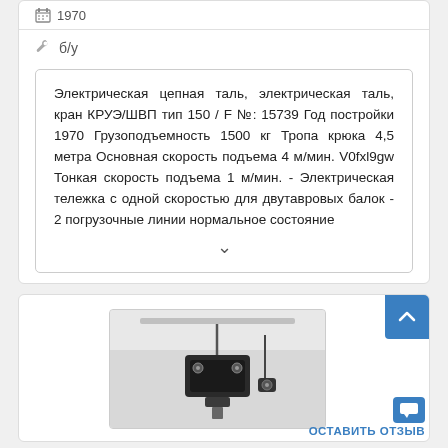1970
б/у
Электрическая цепная таль, электрическая таль, кран КРУЭ/ШВП тип 150 / F №: 15739 Год постройки 1970 Грузоподъемность 1500 кг Тропа крюка 4,5 метра Основная скорость подъема 4 м/мин. V0fxl9gw Тонкая скорость подъема 1 м/мин. - Электрическая тележка с одной скоростью для двутавровых балок - 2 погрузочные линии нормальное состояние
[Figure (photo): Photo of an electric chain hoist/crane mechanism showing a black motor/gearbox unit with cable components against a light background]
ОСТАВИТЬ ОТЗЫВ